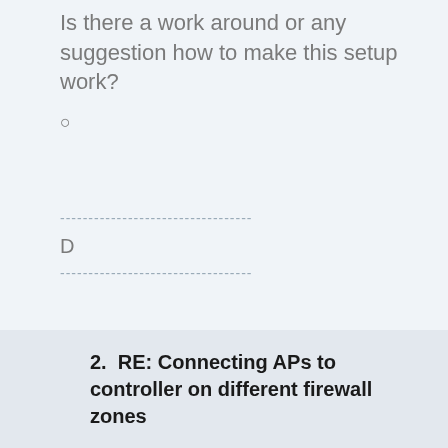Is there a work around or any suggestion how to make this setup work?
○
----------------------------------
D
----------------------------------
2.  RE: Connecting APs to controller on different firewall zones